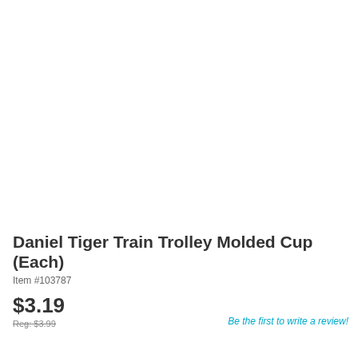[Figure (photo): Product image area — blank/white, no visible product image loaded]
Daniel Tiger Train Trolley Molded Cup (Each)
Item #103787
$3.19
Reg: $3.99
Be the first to write a review!